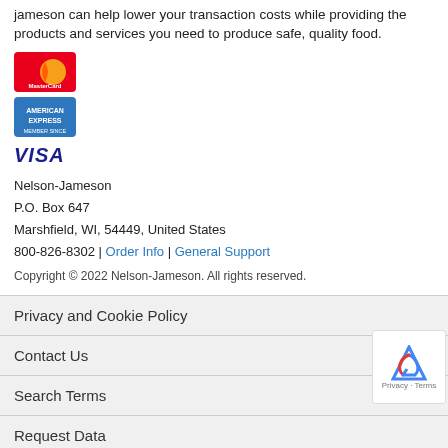jameson can help lower your transaction costs while providing the products and services you need to produce safe, quality food.
[Figure (logo): MasterCard payment logo]
[Figure (logo): American Express payment logo]
[Figure (logo): VISA payment logo text in blue]
Nelson-Jameson
P.O. Box 647
Marshfield, WI, 54449, United States
800-826-8302 | Order Info | General Support
Copyright © 2022 Nelson-Jameson. All rights reserved.
Privacy and Cookie Policy
Contact Us
Search Terms
Request Data
TrustedSite  powered by ElasticSuite